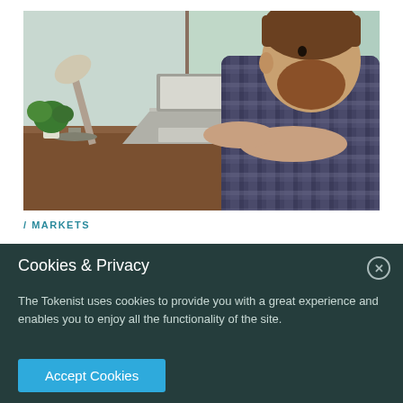[Figure (photo): A bearded man in a plaid shirt typing on a laptop at a wooden desk, with a desk lamp, plant, and large windows in the background.]
/ MARKETS
Cookies & Privacy
The Tokenist uses cookies to provide you with a great experience and enables you to enjoy all the functionality of the site.
Accept Cookies